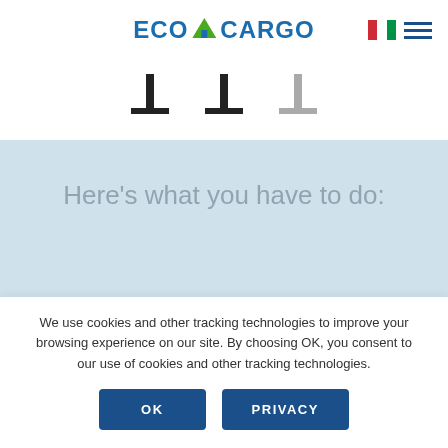ECO4CARGO
[Figure (illustration): Step icons row showing three step markers (T-shaped icons, two dark and one light/gray)]
Here's what you have to do:
[Figure (illustration): Green circle with white pencil/edit icon]
We use cookies and other tracking technologies to improve your browsing experience on our site. By choosing OK, you consent to our use of cookies and other tracking technologies.
OK   PRIVACY